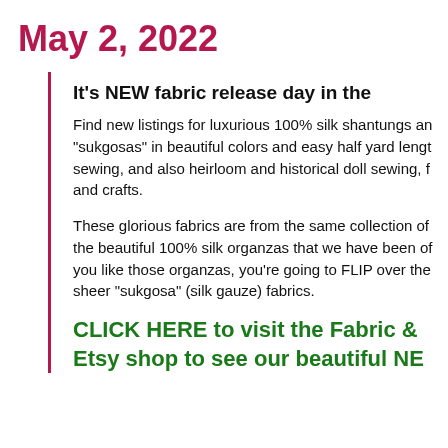May 2, 2022
It's NEW fabric release day in the
Find new listings for luxurious 100% silk shantungs and "sukgosas" in beautiful colors and easy half yard lengths sewing, and also heirloom and historical doll sewing, f and crafts.
These glorious fabrics are from the same collection of the beautiful 100% silk organzas that we have been of you like those organzas, you're going to FLIP over the sheer "sukgosa" (silk gauze) fabrics.
CLICK HERE to visit the Fabric & Etsy shop to see our beautiful NE